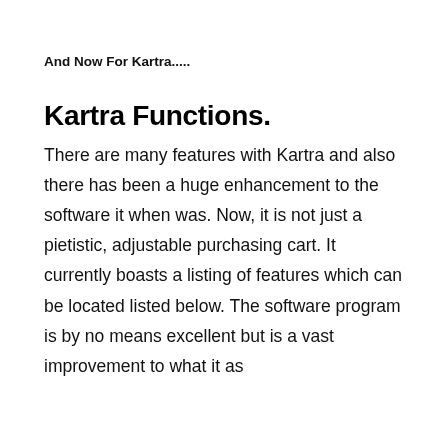And Now For Kartra.....
Kartra Functions.
There are many features with Kartra and also there has been a huge enhancement to the software it when was. Now, it is not just a pietistic, adjustable purchasing cart. It currently boasts a listing of features which can be located listed below. The software program is by no means excellent but is a vast improvement to what it as